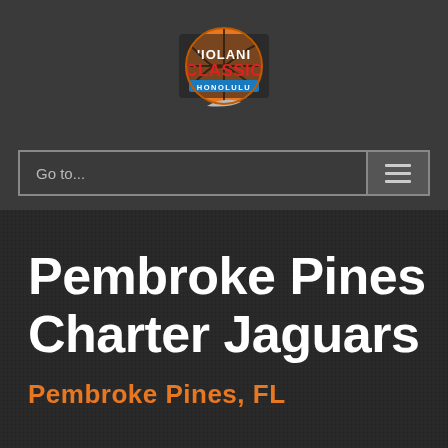[Figure (logo): 'Iolani Classic Honolulu basketball tournament logo with Nike swoosh, orange basketball and red/blue text]
Go to...
Pembroke Pines Charter Jaguars
Pembroke Pines, FL